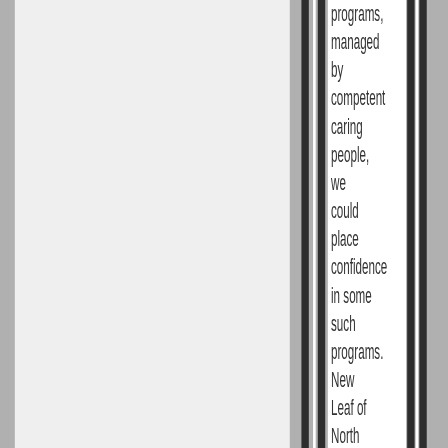programs, managed by competent caring people, we could place confidence in some such programs. New Leaf of North Carolina was one such program.  It was under the very capable leadership of Catherine â€œCatâ€ Jennings, one of